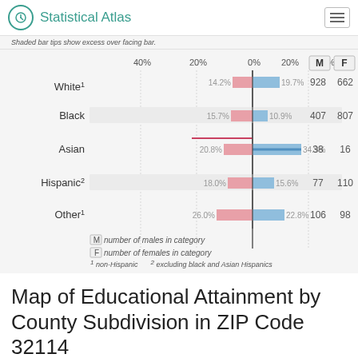Statistical Atlas
Shaded bar tips show excess over facing bar.
[Figure (bar-chart): Race/Ethnicity by Gender]
M = number of males in category; F = number of females in category; 1 non-Hispanic; 2 excluding black and Asian Hispanics
Map of Educational Attainment by County Subdivision in ZIP Code 32114